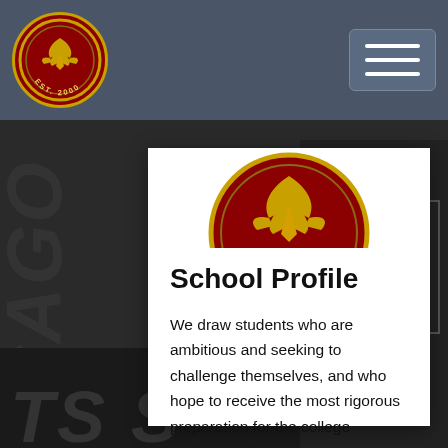Navigation bar with school logo and hamburger menu
[Figure (logo): School circular seal/logo with phoenix bird and EST. 2000 text, red and gold colors]
School Profile
We draw students who are ambitious and seeking to challenge themselves, and who hope to receive the most rigorous preparation for the college environment.